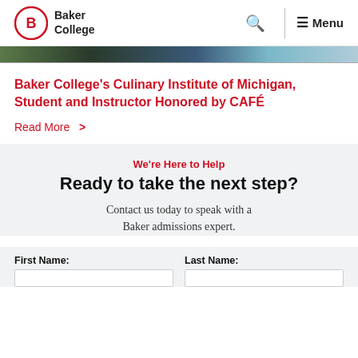[Figure (logo): Baker College logo with red circle containing B and text Baker College]
[Figure (photo): Narrow image strip showing outdoor scene]
Baker College's Culinary Institute of Michigan, Student and Instructor Honored by CAFÉ
Read More >
We're Here to Help
Ready to take the next step?
Contact us today to speak with a Baker admissions expert.
First Name:
Last Name: